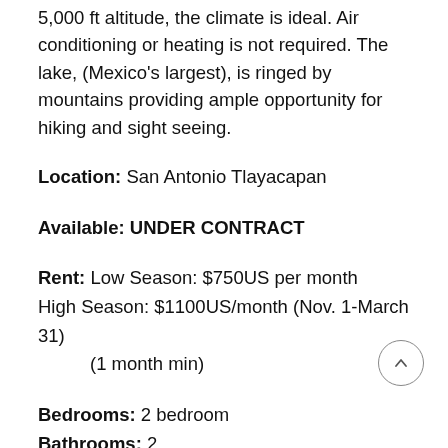5,000 ft altitude, the climate is ideal. Air conditioning or heating is not required. The lake, (Mexico's largest), is ringed by mountains providing ample opportunity for hiking and sight seeing.
Location: San Antonio Tlayacapan
Available: UNDER CONTRACT
Rent: Low Season: $750US per month
High Season: $1100US/month (Nov. 1-March 31)
(1 month min)
Bedrooms: 2 bedroom
Bathrooms: 2
Bungalow, sleeps 4, patio, limited mountain views. Ground floor unit with easy access.
Tenants pay: Electric, maid service